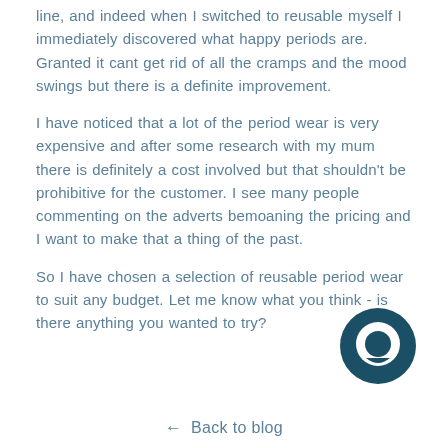line, and indeed when I switched to reusable myself I immediately discovered what happy periods are. Granted it cant get rid of all the cramps and the mood swings but there is a definite improvement.
I have noticed that a lot of the period wear is very expensive and after some research with my mum there is definitely a cost involved but that shouldn't be prohibitive for the customer. I see many people commenting on the adverts bemoaning the pricing and I want to make that a thing of the past.
So I have chosen a selection of reusable period wear to suit any budget. Let me know what you think - is there anything you wanted to try?
[Figure (illustration): Dark teal circular chat bubble icon in bottom right area]
← Back to blog